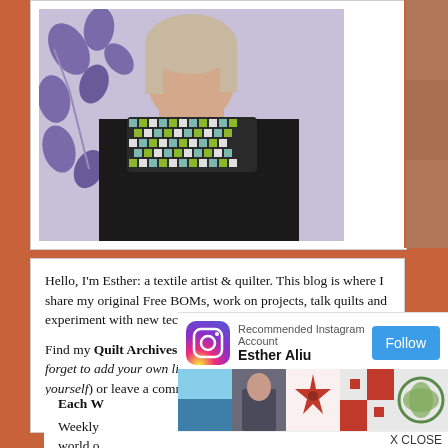[Figure (photo): Portrait photograph of Esther, a woman wearing a houndstooth patterned necklace/collar over a black top, with a floral purple fabric background]
[Figure (photo): Partially visible photo strip on the right edge]
Hello, I'm Esther: a textile artist & quilter. This blog is where I share my original Free BOMs, work on projects, talk quilts and experiment with new techniques.
Find my Quilt Archives at the top of this page (and don't forget to add your own linky if you've made any of my quilts yourself) or leave a comment on the Quilt A... the wo... widesp...
Each W... Weekly... world o...
[Figure (infographic): Instagram recommended account overlay banner showing Instagram logo icon, text 'Recommended Instagram Account' and account name 'Esther Aliu', with a blue Follow button, and a strip of 5 Instagram photos below showing ocean/beach, person with quilt, red floral/decorative pieces, red and white quilt blocks, and green and white quilt pattern]
X CLOSE